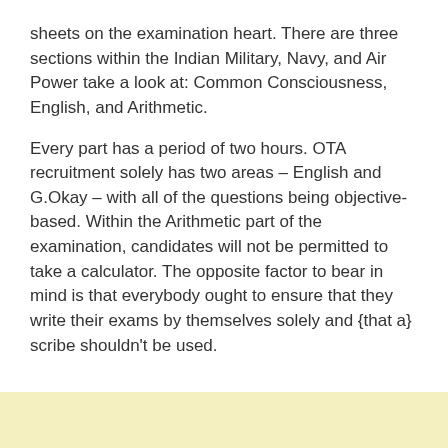sheets on the examination heart. There are three sections within the Indian Military, Navy, and Air Power take a look at: Common Consciousness, English, and Arithmetic.
Every part has a period of two hours. OTA recruitment solely has two areas – English and G.Okay – with all of the questions being objective-based. Within the Arithmetic part of the examination, candidates will not be permitted to take a calculator. The opposite factor to bear in mind is that everybody ought to ensure that they write their exams by themselves solely and {that a} scribe shouldn't be used.
[Figure (other): Light yellow background section at the bottom of the page with a gold/tan scroll-to-top arrow button in the bottom-right corner.]